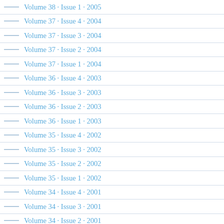Volume 38 · Issue 1 · 2005
Volume 37 · Issue 4 · 2004
Volume 37 · Issue 3 · 2004
Volume 37 · Issue 2 · 2004
Volume 37 · Issue 1 · 2004
Volume 36 · Issue 4 · 2003
Volume 36 · Issue 3 · 2003
Volume 36 · Issue 2 · 2003
Volume 36 · Issue 1 · 2003
Volume 35 · Issue 4 · 2002
Volume 35 · Issue 3 · 2002
Volume 35 · Issue 2 · 2002
Volume 35 · Issue 1 · 2002
Volume 34 · Issue 4 · 2001
Volume 34 · Issue 3 · 2001
Volume 34 · Issue 2 · 2001